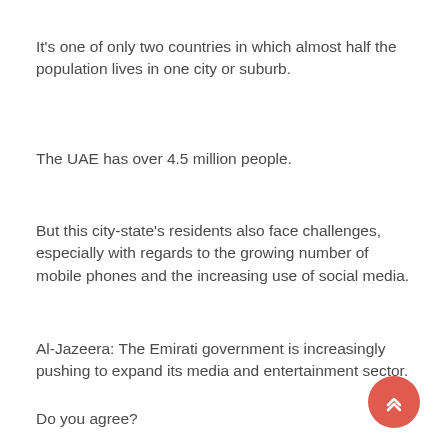It's one of only two countries in which almost half the population lives in one city or suburb.
The UAE has over 4.5 million people.
But this city-state's residents also face challenges, especially with regards to the growing number of mobile phones and the increasing use of social media.
Al-Jazeera: The Emirati government is increasingly pushing to expand its media and entertainment sector.
Do you agree?